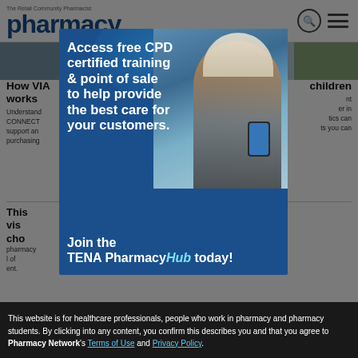pharmacy
Sponsored
How VIA works
Understanding CONNECT support and purchasing
children
nt er in tics can ts you can
[Figure (photo): TENA PharmacyHub advertisement banner showing a woman looking at her phone, with text: Access free CPD certified training & point of sale to help provide the best care for your customers. Join the TENA PharmacyHub today!]
This pharmacy visits control of chose
This website is for healthcare professionals, people who work in pharmacy and pharmacy students. By clicking into any content, you confirm this describes you and that you agree to Pharmacy Network's Terms of Use and Privacy Policy.